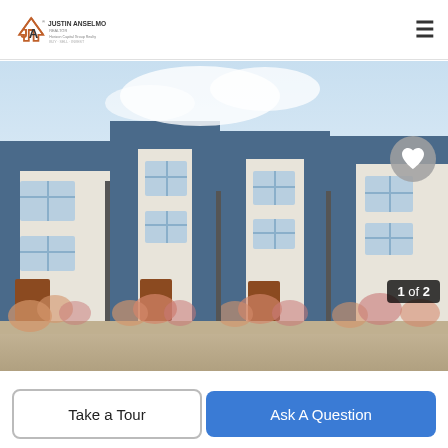Justin Anselmo Realtor — BUY · SELL · INVEST
[Figure (photo): Exterior rendering of a row of modern multi-story townhomes with blue and cream facades, brick-red accents at entry doors, and flowering shrubs in front. Image counter '1 of 2' visible in bottom-right corner.]
Take a Tour
Ask A Question